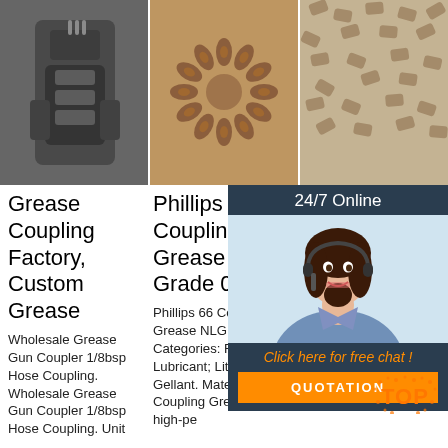[Figure (photo): Three product photos in a row: left shows dark metal grease couplings/fittings, center shows bronze/copper star-shaped grease fittings arranged in a circle, right shows multiple small bronze/tan colored fittings scattered on a surface.]
Grease Coupling Factory, Custom Grease
Phillips 66 Coupling Grease NLGI Grade 0.5
Ge Co Cu Ge Co
Wholesale Grease Gun Coupler 1/8bsp Hose Coupling. Wholesale Grease Gun Coupler 1/8bsp Hose Coupling. Unit
Phillips 66 Coupling Grease NLGI Grade 0.5 Categories: Fluid; Lubricant; Lithium Gellant. Material Notes: Coupling Grease is a high-pe
2020 manufacturer lubrication generates good friction ratio of the spline with almost wear-free operation a
[Figure (infographic): Customer service chat widget with '24/7 Online' header, photo of smiling female agent with headset, 'Click here for free chat!' text in orange, and orange QUOTATION button.]
[Figure (logo): TOP logo in orange with decorative dots around it, bottom right corner.]